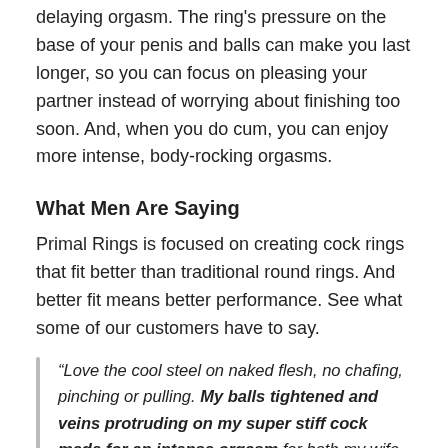delaying orgasm. The ring's pressure on the base of your penis and balls can make you last longer, so you can focus on pleasing your partner instead of worrying about finishing too soon. And, when you do cum, you can enjoy more intense, body-rocking orgasms.
What Men Are Saying
Primal Rings is focused on creating cock rings that fit better than traditional round rings. And better fit means better performance. See what some of our customers have to say.
“Love the cool steel on naked flesh, no chafing, pinching or pulling. My balls tightened and veins protruding on my super stiff cock made for an intense orgasm for both my wife and myself. Absolutely incredible!” ~ fredsea from PA about